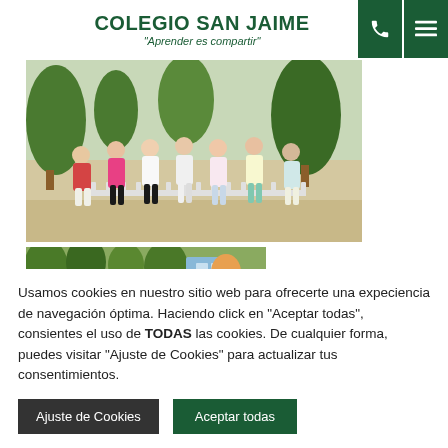COLEGIO SAN JAIME "Aprender es compartir"
[Figure (photo): Group of children posing together outdoors in front of a colorful decorated background, wearing casual summer clothes]
[Figure (photo): Partial view of an outdoor scene with trees and colorful decorations]
Usamos cookies en nuestro sitio web para ofrecerte una expeciencia de navegación óptima. Haciendo click en "Aceptar todas", consientes el uso de TODAS las cookies. De cualquier forma, puedes visitar "Ajuste de Cookies" para actualizar tus consentimientos.
Ajuste de Cookies | Aceptar todas